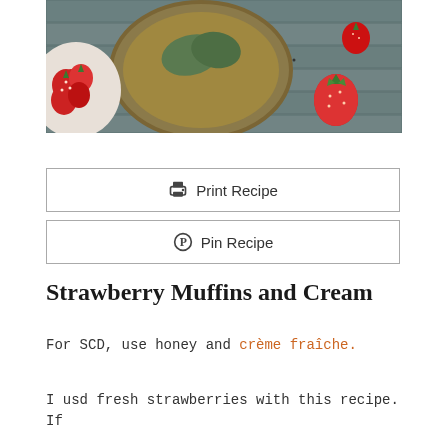[Figure (photo): Overhead photo of strawberries in a red and white bowl, a tart shell, and loose strawberries on a gray wooden surface]
Print Recipe
Pin Recipe
Strawberry Muffins and Cream
For SCD, use honey and crème fraîche.
I usd fresh strawberries with this recipe. If